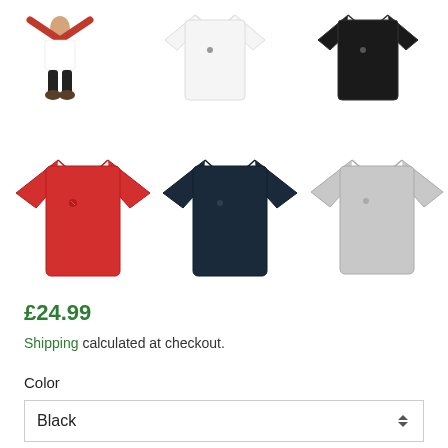[Figure (photo): Grid of 6 t-shirts in various colors: small figure with white t-shirt (top left), white t-shirt (top center), black t-shirt (top right), red t-shirt (bottom left), navy t-shirt (bottom center), grey t-shirt (bottom right)]
£24.99
Shipping calculated at checkout.
Color
Black